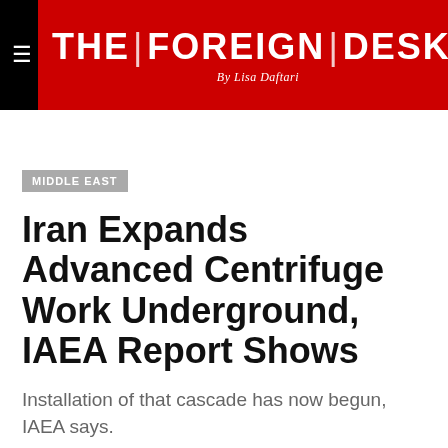THE FOREIGN DESK By Lisa Daftari
MIDDLE EAST
Iran Expands Advanced Centrifuge Work Underground, IAEA Report Shows
Installation of that cascade has now begun, IAEA says.